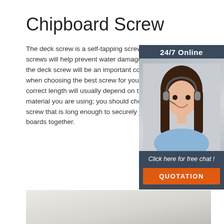Chipboard Screw
The deck screw is a self-tapping screw.Galva screws will help prevent water damage. The the deck screw will be an important consider when choosing the best screw for your proje correct length will usually depend on the type material you are using; you should choose a screw that is long enough to securely join the boards together.
[Figure (photo): 24/7 Online chat widget with a woman wearing a headset smiling, with a 'Click here for free chat!' prompt and a QUOTATION button]
Get Price
[Figure (photo): Bottom partial image, light gray/beige texture, partially visible]